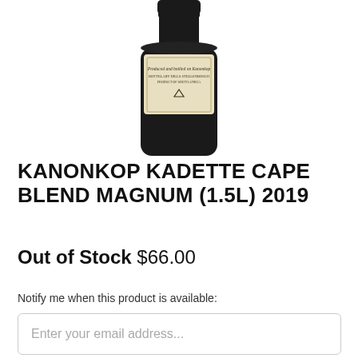[Figure (photo): A wine bottle (Kanonkop Kadette Cape Blend Magnum 1.5L 2019) with a dark body and cream/gold label, cropped at the top and bottom.]
KANONKOP KADETTE CAPE BLEND MAGNUM (1.5L) 2019
Out of Stock $66.00
Notify me when this product is available:
Enter your email address...